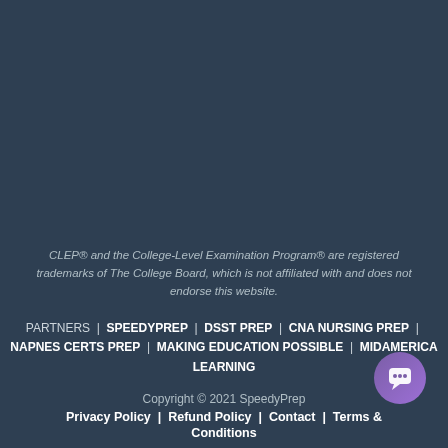CLEP® and the College-Level Examination Program® are registered trademarks of The College Board, which is not affiliated with and does not endorse this website.
PARTNERS | SPEEDYPREP | DSST PREP | CNA NURSING PREP | NAPNES CERTS PREP | MAKING EDUCATION POSSIBLE | MIDAMERICA LEARNING
Copyright © 2021 SpeedyPrep
Privacy Policy | Refund Policy | Contact | Terms & Conditions